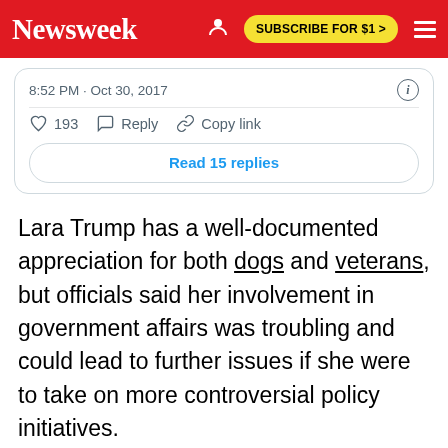Newsweek | SUBSCRIBE FOR $1 >
[Figure (screenshot): Embedded tweet showing timestamp 8:52 PM · Oct 30, 2017 with like (193), reply, and copy link actions, and a 'Read 15 replies' button]
Lara Trump has a well-documented appreciation for both dogs and veterans, but officials said her involvement in government affairs was troubling and could lead to further issues if she were to take on more controversial policy initiatives.
"If you're serving on a campaign while hosting